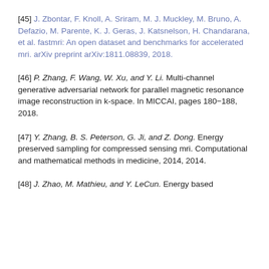[45] J. Zbontar, F. Knoll, A. Sriram, M. J. Muckley, M. Bruno, A. Defazio, M. Parente, K. J. Geras, J. Katsnelson, H. Chandarana, et al. fastmri: An open dataset and benchmarks for accelerated mri. arXiv preprint arXiv:1811.08839, 2018.
[46] P. Zhang, F. Wang, W. Xu, and Y. Li. Multi-channel generative adversarial network for parallel magnetic resonance image reconstruction in k-space. In MICCAI, pages 180−188, 2018.
[47] Y. Zhang, B. S. Peterson, G. Ji, and Z. Dong. Energy preserved sampling for compressed sensing mri. Computational and mathematical methods in medicine, 2014, 2014.
[48] J. Zhao, M. Mathieu, and Y. LeCun. Energy based...